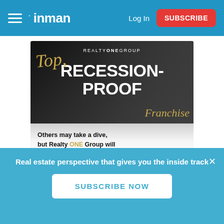inman  Log In  SUBSCRIBE
[Figure (illustration): Realty ONE Group advertisement showing 'Top Recession-Proof Franchise' with crowd background and tagline 'Others may take a dive, but Realty ONE Group will always be your 100%']
Real estate perspective that gives you the inside track
SUBSCRIBE NOW